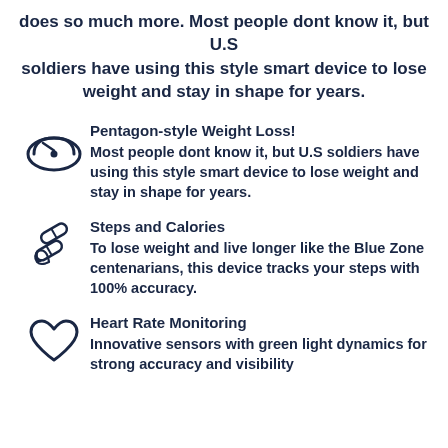does so much more. Most people dont know it, but U.S soldiers have using this style smart device to lose weight and stay in shape for years.
Pentagon-style Weight Loss! Most people dont know it, but U.S soldiers have using this style smart device to lose weight and stay in shape for years.
Steps and Calories To lose weight and live longer like the Blue Zone centenarians, this device tracks your steps with 100% accuracy.
Heart Rate Monitoring Innovative sensors with green light dynamics for strong accuracy and visibility